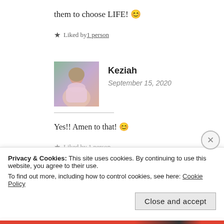them to choose LIFE! 😊
★ Liked by 1 person
Keziah
September 15, 2020
Yes!! Amen to that! 😊
★ Liked by 1 person
Privacy & Cookies: This site uses cookies. By continuing to use this website, you agree to their use.
To find out more, including how to control cookies, see here: Cookie Policy